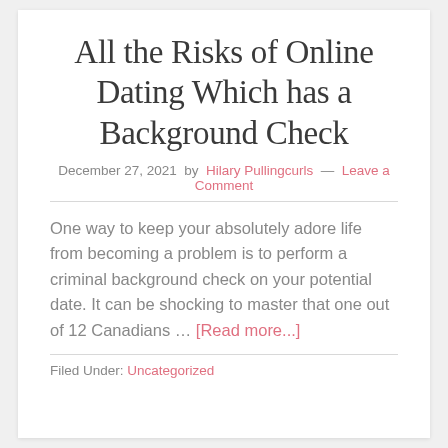All the Risks of Online Dating Which has a Background Check
December 27, 2021 by Hilary Pullingcurls — Leave a Comment
One way to keep your absolutely adore life from becoming a problem is to perform a criminal background check on your potential date. It can be shocking to master that one out of 12 Canadians … [Read more...]
Filed Under: Uncategorized